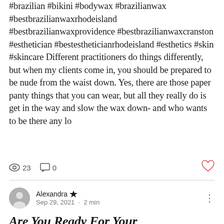#brazilian #bikini #bodywax #brazilianwax #bestbrazilianwaxrhodeisland #bestbrazilianwaxprovidence #bestbrazilianwaxcranston #esthetician #bestestheticianrhodeisland #esthetics #skin #skincare Different practitioners do things differently, but when my clients come in, you should be prepared to be nude from the waist down. Yes, there are those paper panty things that you can wear, but all they really do is get in the way and slow the wax down- and who wants to be there any lo
23   0
Alexandra  Sep 29, 2021 · 2 min
Are You Ready For Your First Brazilian?